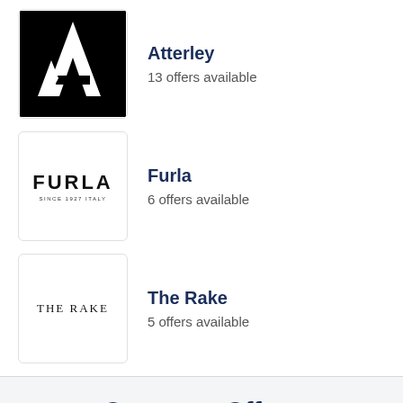[Figure (logo): Atterley brand logo — black square with white stylized letter A]
Atterley
13 offers available
[Figure (logo): FURLA logo — text reading FURLA SINCE 1927 ITALY]
Furla
6 offers available
[Figure (logo): The Rake logo — serif text reading THE RAKE]
The Rake
5 offers available
Converse Offers
Deals  7